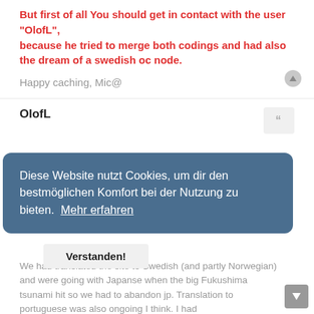But first of all You should get in contact with the user "OlofL", because he tried to merge both codings and had also the dream of a swedish oc node.
Happy caching, Mic@
OlofL
21.04.2022 15:15
Diese Website nutzt Cookies, um dir den bestmöglichen Komfort bei der Nutzung zu bieten.  Mehr erfahren
Verstanden!
for a couple of years starting from 2009 I think.
We had translated the site to Swedish (and partly Norwegian) and were going with Japanse when the big Fukushima tsunami hit so we had to abandon jp. Translation to portuguese was also ongoing I think. I had